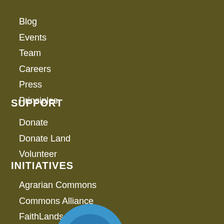Blog
Events
Team
Careers
Press
Principles
SUPPORT
Donate
Donate Land
Volunteer
INITIATIVES
Agrarian Commons
Commons Alliance
FaithLands
[Figure (logo): Partial circular blue logo visible at bottom of page]